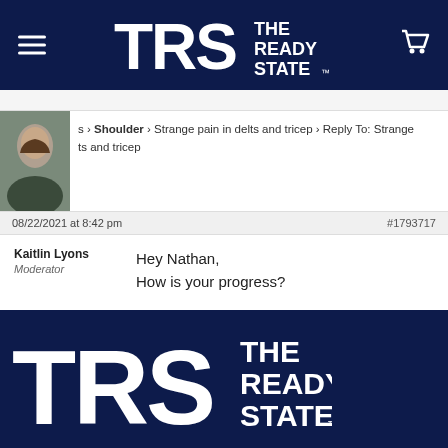[Figure (logo): TRS The Ready State logo in white on dark navy header bar with hamburger menu icon on left and shopping cart icon on right]
[Figure (screenshot): Forum post thread breadcrumb showing: [avatar photo of woman] › Shoulder › Strange pain in delts and tricep › Reply To: Strange [ts and tricep]]
08/22/2021 at 8:42 pm   #1793717
Kaitlin Lyons
Moderator
Hey Nathan,
How is your progress?
[Figure (logo): TRS The Ready State footer logo in white on dark navy background]